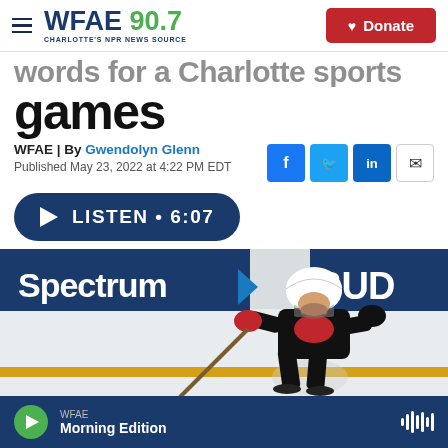WFAE 90.7 CHARLOTTE'S NPR NEWS SOURCE | Donate
games
WFAE | By Gwendolyn Glenn
Published May 23, 2022 at 4:22 PM EDT
LISTEN • 6:07
[Figure (photo): Hockey player in black uniform and white helmet skating on ice rink with Spectrum and Bud advertising boards in background]
WFAE Morning Edition